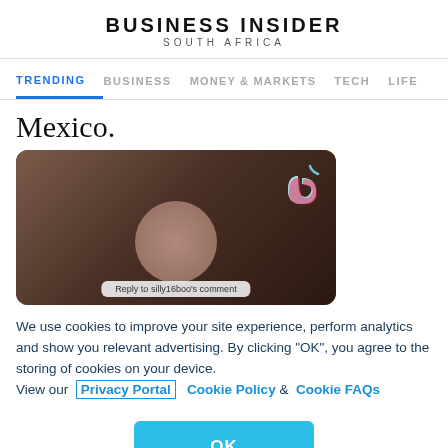BUSINESS INSIDER
SOUTH AFRICA
TRENDING  BUSINESS  MONEY & MARKETS  TECH  LIFE
Mexico.
[Figure (screenshot): TikTok video screenshot with a blurred face/circle in foreground on dark brown background, TikTok logo in top right, caption bar reading 'Reply to silly16boo's comment']
We use cookies to improve your site experience, perform analytics and show you relevant advertising. By clicking "OK", you agree to the storing of cookies on your device. View our Privacy Portal  Cookie Policy &  Cookie FAQs
OK